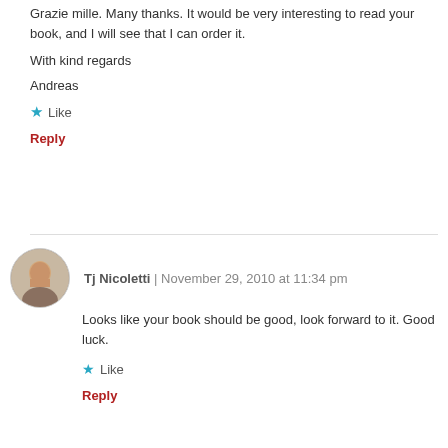Grazie mille. Many thanks. It would be very interesting to read your book, and I will see that I can order it.
With kind regards
Andreas
★ Like
Reply
Tj Nicoletti | November 29, 2010 at 11:34 pm
Looks like your book should be good, look forward to it. Good luck.
★ Like
Reply